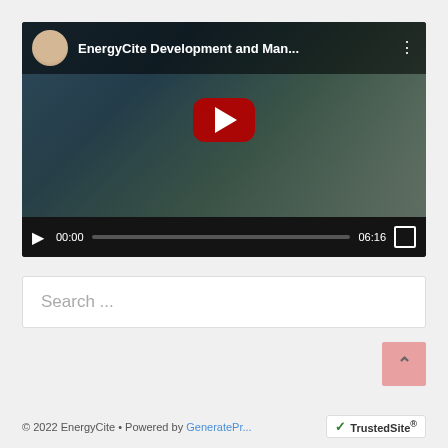[Figure (screenshot): YouTube video thumbnail showing 'EnergyCite Development and Man...' with a play button overlay, video controls showing 00:00 / 06:16, and a scene of people in what appears to be a manufacturing or industrial setting]
Search ...
© 2022 EnergyCite • Powered by GeneratePr... TrustedSite